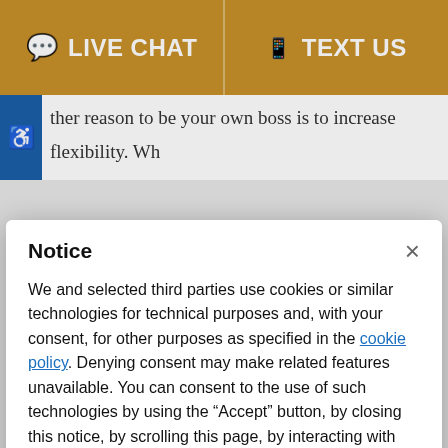LIVE CHAT   TEXT US
ther reason to be your own boss is to increase flexibility. Wh...
Notice
We and selected third parties use cookies or similar technologies for technical purposes and, with your consent, for other purposes as specified in the cookie policy. Denying consent may make related features unavailable. You can consent to the use of such technologies by using the “Accept” button, by closing this notice, by scrolling this page, by interacting with any link or button outside of this notice or by continuing to browse otherwise.
Accept
Learn more and customize